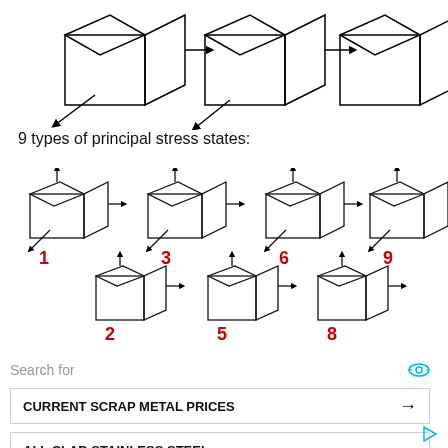[Figure (illustration): Three 3D cube diagrams showing stress states with arrows at top, showing partial/cropped views]
9 types of principal stress states:
[Figure (illustration): Nine 3D cube diagrams numbered 1-9 showing different principal stress states with arrows indicating stress directions]
Search for
CURRENT SCRAP METAL PRICES →
ALL CLAD STAINLESS STEEL →